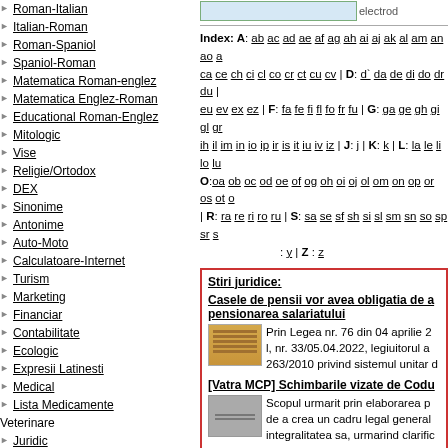Roman-Italian
Italian-Roman
Roman-Spaniol
Spaniol-Roman
Matematica Roman-englez
Matematica Englez-Roman
Educational Roman-Englez
Mitologic
Vise
Religie/Ortodox
DEX
Sinonime
Antonime
Auto-Moto
Calculatoare-Internet
Turism
Marketing
Financiar
Contabilitate
Ecologic
Expresii Latinesti
Medical
Lista Medicamente
Veterinare
Juridic
Moda
Gastronomic
Institutii Publice
Consiliile Judetene
Index: A: ab ac ad ae af ag ah ai aj ak al am an ao a ca ce ch ci cl co cr ct cu cv | D: d' da de di do dr du | eu ev ex ez | F: fa fe fi fl fo fr fu | G: ga ge gh gi gl gr ih il im in io ip ir is it iu iv iz | J: j | K: k | L: la le li lo lu O:oa ob oc od oe of og oh oi oj ol om on op or os ot | R: ra re ri ro ru | S: sa se sf sh si sl sm sn so sp sr s : y | Z : z
Stiri juridice:
Casele de pensii vor avea obligatia de a... pensionarea salariatului
Prin Legea nr. 76 din 04 aprilie 2... l, nr. 33/05.04.2022, legiuitorul a... 263/2010 privind sistemul unitar d...
[Vatra MCP] Schimbarile vizate de Codu...
Scopul urmarit prin elaborarea p... de a crea un cadru legal general... integralitatea sa, urmarind clarific...
[Vatra MCP] Contextul, motivele si neces... Cultural al Romaniei